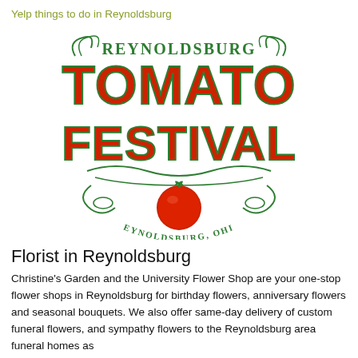Yelp things to do in Reynoldsburg
[Figure (logo): Reynoldsburg Tomato Festival logo — large red block lettering 'TOMATO FESTIVAL' with green decorative 'REYNOLDSBURG' header and a red tomato graphic at the bottom, text 'REYNOLDSBURG, OHIO' beneath the tomato]
Florist in Reynoldsburg
Christine's Garden and the University Flower Shop are your one-stop flower shops in Reynoldsburg for birthday flowers, anniversary flowers and seasonal bouquets. We also offer same-day delivery of custom funeral flowers, and sympathy flowers to the Reynoldsburg area funeral homes as